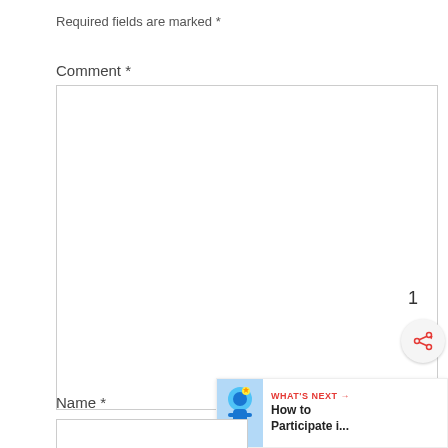Required fields are marked *
Comment *
[Figure (screenshot): Empty comment textarea input box with resize handle at bottom right]
[Figure (infographic): Heart (like) button in red circle showing count of 1, and share button below]
[Figure (infographic): What's Next widget showing a blue bird illustration and text: WHAT'S NEXT → How to Participate i...]
Name *
[Figure (screenshot): Empty name text input box]